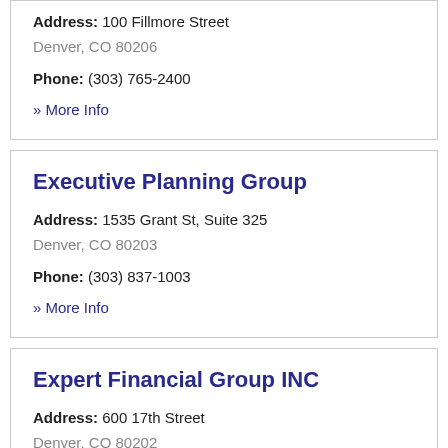Address: 100 Fillmore Street
Denver, CO 80206
Phone: (303) 765-2400
» More Info
Executive Planning Group
Address: 1535 Grant St, Suite 325
Denver, CO 80203
Phone: (303) 837-1003
» More Info
Expert Financial Group INC
Address: 600 17th Street
Denver, CO 80202